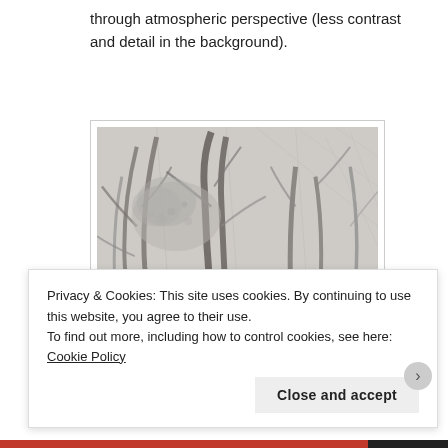through atmospheric perspective (less contrast and detail in the background).
[Figure (illustration): Pencil/graphite sketch of trees with organic forms, showing atmospheric perspective with varying contrast. The foreground has more defined lines and the background is lighter with less detail.]
Privacy & Cookies: This site uses cookies. By continuing to use this website, you agree to their use.
To find out more, including how to control cookies, see here: Cookie Policy